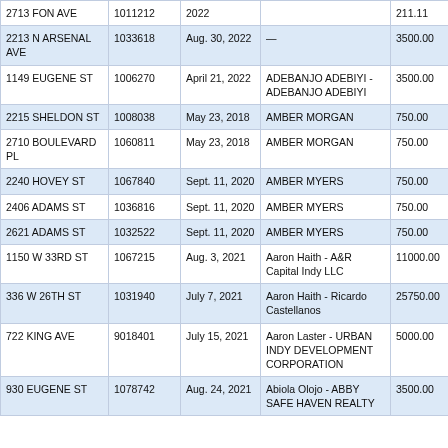| Address | ID | Date | Name | Amount |
| --- | --- | --- | --- | --- |
| 2713 FON AVE | 1011212 | 2022 |  | 211.11 |
| 2213 N ARSENAL AVE | 1033618 | Aug. 30, 2022 | — | 3500.00 |
| 1149 EUGENE ST | 1006270 | April 21, 2022 | ADEBANJO ADEBIYI - ADEBANJO ADEBIYI | 3500.00 |
| 2215 SHELDON ST | 1008038 | May 23, 2018 | AMBER MORGAN | 750.00 |
| 2710 BOULEVARD PL | 1060811 | May 23, 2018 | AMBER MORGAN | 750.00 |
| 2240 HOVEY ST | 1067840 | Sept. 11, 2020 | AMBER MYERS | 750.00 |
| 2406 ADAMS ST | 1036816 | Sept. 11, 2020 | AMBER MYERS | 750.00 |
| 2621 ADAMS ST | 1032522 | Sept. 11, 2020 | AMBER MYERS | 750.00 |
| 1150 W 33RD ST | 1067215 | Aug. 3, 2021 | Aaron Haith - A&R Capital Indy LLC | 11000.00 |
| 336 W 26TH ST | 1031940 | July 7, 2021 | Aaron Haith - Ricardo Castellanos | 25750.00 |
| 722 KING AVE | 9018401 | July 15, 2021 | Aaron Laster - URBAN INDY DEVELOPMENT CORPORATION | 5000.00 |
| 930 EUGENE ST | 1078742 | Aug. 24, 2021 | Abiola Olojo - ABBY SAFE HAVEN REALTY | 3500.00 |